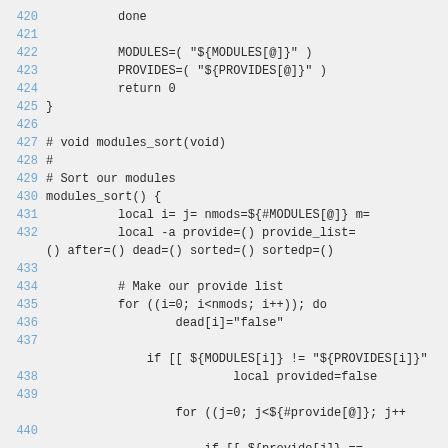420    done
421
422        MODULES=( "${MODULES[@]}" )
423        PROVIDES=( "${PROVIDES[@]}" )
424        return 0
425 }
426
427 # void modules_sort(void)
428 #
429 # Sort our modules
430 modules_sort() {
431        local i= j= nmods=${#MODULES[@]} m=
432        local -a provide=() provide_list=
() after=() dead=() sorted=() sortedp=()
433
434        # Make our provide list
435        for ((i=0; i<nmods; i++)); do
436                dead[i]="false"
437
            if [[ ${MODULES[i]} != "${PROVIDES[i]}"
438                        local provided=false
439
                    for ((j=0; j<${#provide[@]}; j++
440
                        if [[ ${provide[j]} ==